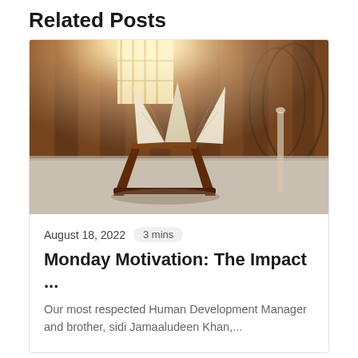Related Posts
[Figure (photo): A Quran resting on a wooden stand inside a mosque with warm golden sunlight shining through an arched window, wooden pillars and gothic archways in the background]
August 18, 2022   3 mins
Monday Motivation: The Impact ...
Our most respected Human Development Manager and brother, sidi Jamaaludeen Khan,...